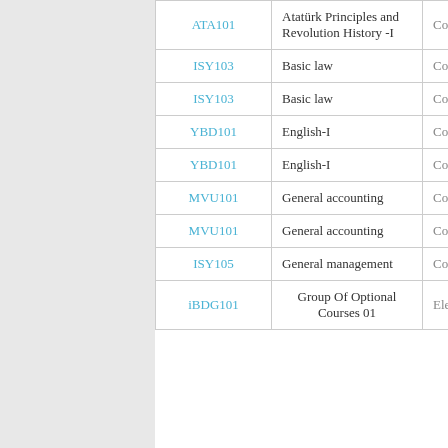| Code | Course Name | Type |
| --- | --- | --- |
| ATA101 | Atatürk Principles and Revolution History -I | Compulsory |
| ISY103 | Basic law | Compulsory |
| ISY103 | Basic law | Compulsory |
| YBD101 | English-I | Compulsory |
| YBD101 | English-I | Compulsory |
| MVU101 | General accounting | Compulsory |
| MVU101 | General accounting | Compulsory |
| ISY105 | General management | Compulsory |
| iBDG101 | Group Of Optional Courses 01 | Elective |